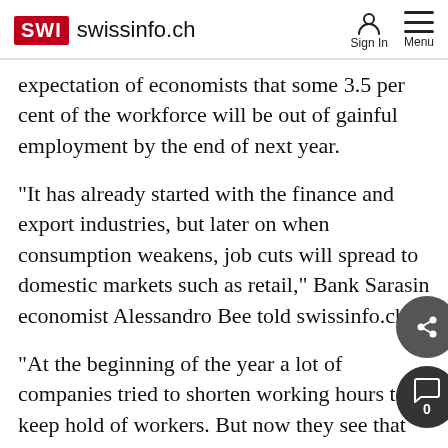SWI swissinfo.ch | Sign In | Menu
expectation of economists that some 3.5 per cent of the workforce will be out of gainful employment by the end of next year.
"It has already started with the finance and export industries, but later on when consumption weakens, job cuts will spread to domestic markets such as retail," Bank Sarasin economist Alessandro Bee told swissinfo.ch
"At the beginning of the year a lot of companies tried to shorten working hours to keep hold of workers. But now they see that the economic slump is set to continue they are starting to shed jobs."